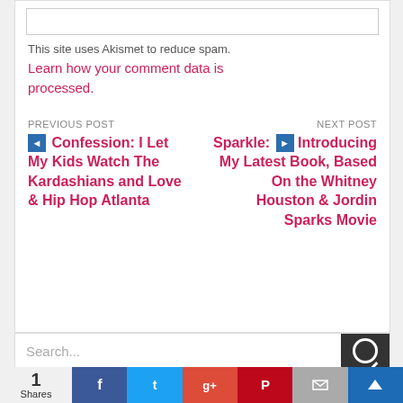This site uses Akismet to reduce spam. Learn how your comment data is processed.
PREVIOUS POST
◄ Confession: I Let My Kids Watch The Kardashians and Love & Hip Hop Atlanta
NEXT POST
Sparkle: ► Introducing My Latest Book, Based On the Whitney Houston & Jordin Sparks Movie
Search...
1 Shares